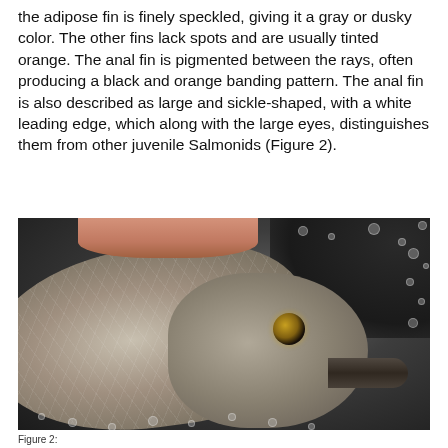the adipose fin is finely speckled, giving it a gray or dusky color. The other fins lack spots and are usually tinted orange. The anal fin is pigmented between the rays, often producing a black and orange banding pattern. The anal fin is also described as large and sickle-shaped, with a white leading edge, which along with the large eyes, distinguishes them from other juvenile Salmonids (Figure 2).
[Figure (photo): Close-up photograph of a juvenile Salmonid fish held in a hand against a dark background with water droplets. The fish's large eye, scaled body, and open mouth are clearly visible.]
Figure 2: ...